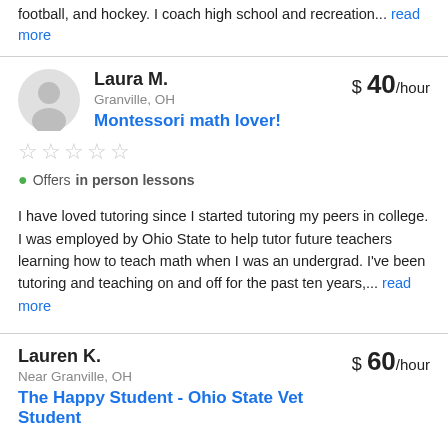football, and hockey. I coach high school and recreation... read more
Laura M. — Granville, OH — $40/hour — Montessori math lover! — Offers in person lessons
I have loved tutoring since I started tutoring my peers in college. I was employed by Ohio State to help tutor future teachers learning how to teach math when I was an undergrad. I've been tutoring and teaching on and off for the past ten years,... read more
Lauren K. — Near Granville, OH — $60/hour — The Happy Student - Ohio State Vet Student